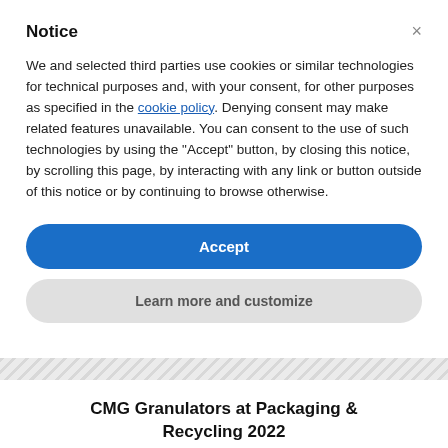Notice
We and selected third parties use cookies or similar technologies for technical purposes and, with your consent, for other purposes as specified in the cookie policy. Denying consent may make related features unavailable. You can consent to the use of such technologies by using the "Accept" button, by closing this notice, by scrolling this page, by interacting with any link or button outside of this notice or by continuing to browse otherwise.
Accept
Learn more and customize
CMG Granulators at Packaging & Recycling 2022